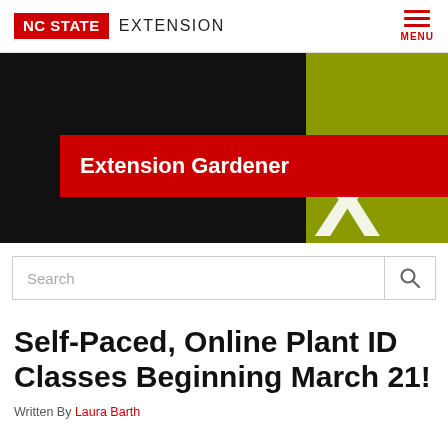NC STATE EXTENSION
[Figure (logo): NC State Extension Extension Gardener hero banner with black and olive green background sections, red banner overlay with white text 'Extension Gardener', and partial letter X graphic]
Search
Self-Paced, Online Plant ID Classes Beginning March 21!
Written By Laura Barth